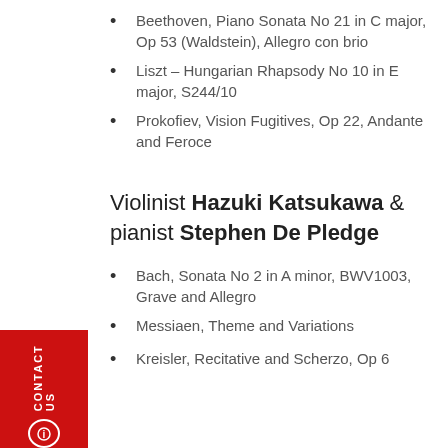Beethoven, Piano Sonata No 21 in C major, Op 53 (Waldstein), Allegro con brio
Liszt – Hungarian Rhapsody No 10 in E major, S244/10
Prokofiev, Vision Fugitives, Op 22, Andante and Feroce
Violinist Hazuki Katsukawa & pianist Stephen De Pledge
Bach, Sonata No 2 in A minor, BWV1003, Grave and Allegro
Messiaen, Theme and Variations
Kreisler, Recitative and Scherzo, Op 6